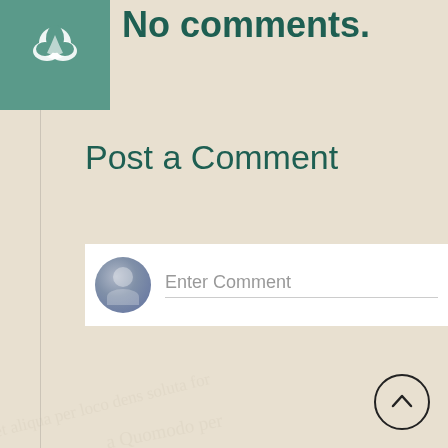[Figure (logo): Teal/green square logo with stylized leaf/plant symbol in white on green background]
No comments.
Post a Comment
[Figure (screenshot): Comment input area with avatar icon on left and 'Enter Comment' placeholder text with underline]
Newer Post
Home
Subscribe to: Post Comments (Atom)